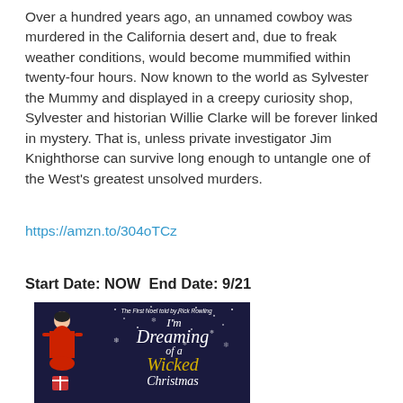Over a hundred years ago, an unnamed cowboy was murdered in the California desert and, due to freak weather conditions, would become mummified within twenty-four hours. Now known to the world as Sylvester the Mummy and displayed in a creepy curiosity shop, Sylvester and historian Willie Clarke will be forever linked in mystery. That is, unless private investigator Jim Knighthorse can survive long enough to untangle one of the West's greatest unsolved murders.
https://amzn.to/304oTCz
Start Date: NOW  End Date: 9/21
[Figure (illustration): Book cover for 'I'm Dreaming of a Wicked Christmas' told by Rick Rowling. Dark blue/navy background with stars and snowflakes. A woman in a red dress stands on the left. Stylized script text in white and gold/yellow.]